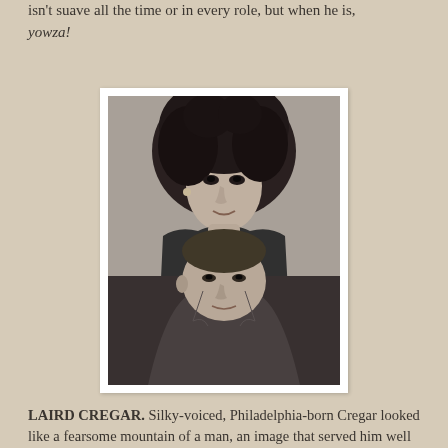isn't suave all the time or in every role, but when he is, yowza!
[Figure (photo): Black and white portrait photograph of a woman with elaborate upswept dark hair standing behind a man in a suit, both facing slightly to the side.]
LAIRD CREGAR. Silky-voiced, Philadelphia-born Cregar looked like a fearsome mountain of a man, an image that served him well in such classics as I Wake Up Screaming (1941), Heaven Can Wait (1943), and the 1944 remake of The Lodger. However, he blazed his own trail, mounting his own acclaimed stage productions of Oscar Wilde and The